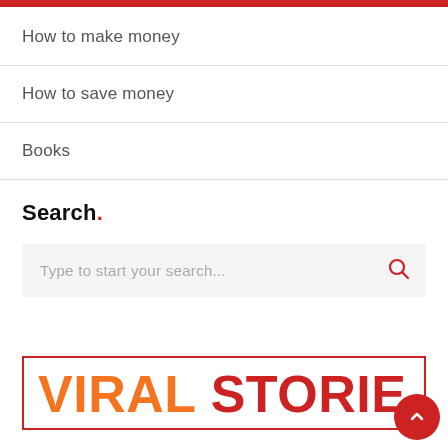How to make money
How to save money
Books
Search.
Type to start your search...
VIRAL STORIE